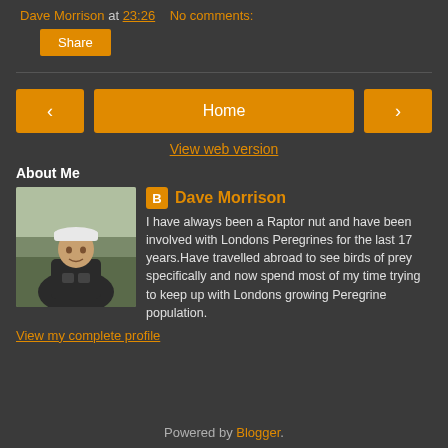Dave Morrison at 23:26   No comments:
Share
‹   Home   ›
View web version
About Me
[Figure (photo): Profile photo of Dave Morrison, a man wearing a white cap and dark jacket, outdoors]
Dave Morrison
I have always been a Raptor nut and have been involved with Londons Peregrines for the last 17 years.Have travelled abroad to see birds of prey specifically and now spend most of my time trying to keep up with Londons growing Peregrine population.
View my complete profile
Powered by Blogger.